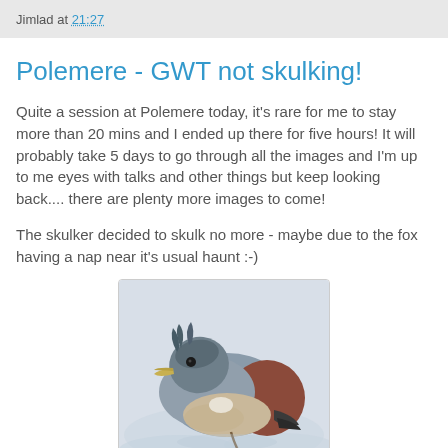Jimlad at 21:27
Polemere - GWT not skulking!
Quite a session at Polemere today, it's rare for me to stay more than 20 mins and I ended up there for five hours! It will probably take 5 days to go through all the images and I'm up to me eyes with talks and other things but keep looking back.... there are plenty more images to come!
The skulker decided to skulk no more - maybe due to the fox having a nap near it's usual haunt :-)
[Figure (photo): A bird (Green-winged Teal or similar duck) photographed from above/side, showing grey, brown, and buff plumage, resting on a light-coloured surface.]